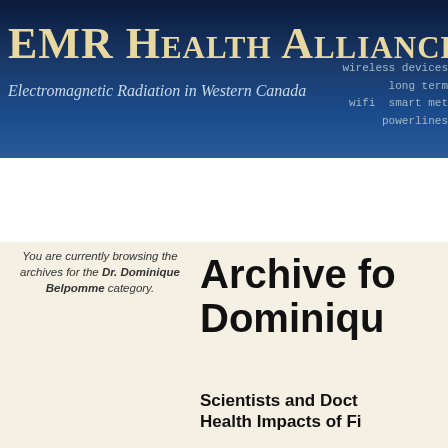[Figure (screenshot): EMR Health Alliance of BC website banner with dark blue starry background, site title, subtitle about Electromagnetic Radiation in Western Canada, and keywords on right]
EMR HEALTH ALLIANCE OF B
Electromagnetic Radiation in Western Canada
wireless devices
long term
wifi smart met
powerlines
Home | EMRHA | Health Effects | 5G SmallCells | Sma
SOURCES of EMR | RadNet | Media
You are currently browsing the archives for the Dr. Dominique Belpomme category.
Archive fo
Dominiqu
RECENT POSTS
Small Cells Denied – Landmark legal decision in July of 2022
Flower Hill denies all
Scientists and Doct
Health Impacts of Fi